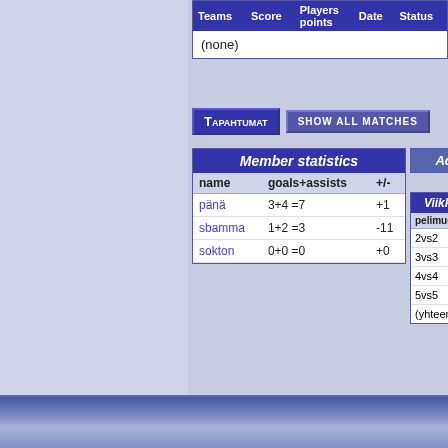| Teams | Score | Players points | Date | Status |
| --- | --- | --- | --- | --- |
| (none) |  |  |  |  |
Tapahtumat
SHOW ALL MATCHES
| name | goals+assists | +/- |
| --- | --- | --- |
| pänä | 3+4 =7 | +1 |
| sbamma | 1+2 =3 | -11 |
| sokton | 0+0 =0 | +0 |
| pelimuoto | ottelut | vo |
| --- | --- | --- |
| 2vs2 | 0 | 0 |
| 3vs3 | 0 | 0 |
| 4vs4 | 0 | 0 |
| 5vs5 | 0 | 0 |
| (yhteensä) | 0 | 0 |